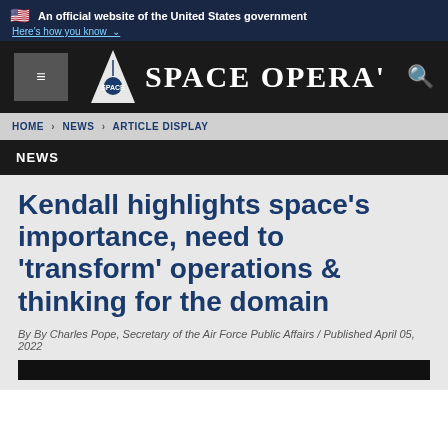An official website of the United States government
Here's how you know
SPACE OPERA'
HOME / NEWS / ARTICLE DISPLAY
NEWS
Kendall highlights space's importance, need to 'transform' operations & thinking for the domain
By By Charles Pope, Secretary of the Air Force Public Affairs / Published April 05, 2022